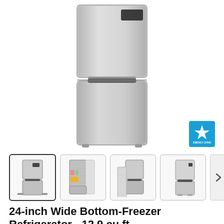[Figure (photo): Large main product photo of a stainless steel 24-inch wide bottom-freezer refrigerator, front view on white background]
[Figure (logo): ENERGY STAR certification badge in blue]
[Figure (photo): Row of four thumbnail images of the refrigerator: front closed view (selected), open door showing interior with food, open freezer drawer view, and side/front view. A right navigation arrow button is at the end.]
24-inch Wide Bottom-Freezer Refrigerator - 12.9 cu ft